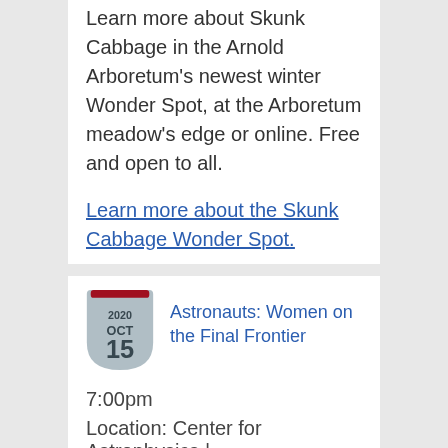Learn more about Skunk Cabbage in the Arnold Arboretum's newest winter Wonder Spot, at the Arboretum meadow's edge or online. Free and open to all.
Learn more about the Skunk Cabbage Wonder Spot.
[Figure (illustration): Calendar icon showing 2020 OCT 15 in a shield/badge shape with a dark red top bar]
Astronauts: Women on the Final Frontier
7:00pm
Location: Center for Astrophysics | Harvard & Smithsonian, Online